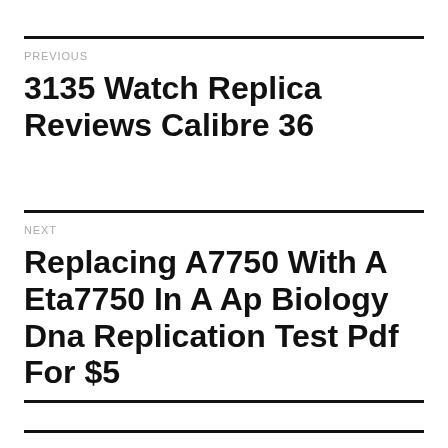PREVIOUS
3135 Watch Replica Reviews Calibre 36
NEXT
Replacing A7750 With A Eta7750 In A Ap Biology Dna Replication Test Pdf For $5